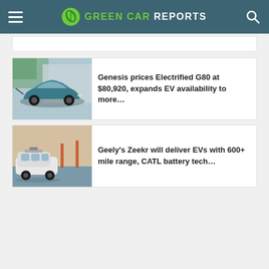GREEN CAR REPORTS
[Figure (screenshot): Partial article card (top portion cut off)]
[Figure (photo): Genesis Electrified G80 luxury electric sedan in teal/blue color plugged in at a charger]
Genesis prices Electrified G80 at $80,920, expands EV availability to more…
[Figure (photo): Geely Zeekr autonomous-style white minivan with sensor array on roof, Golden Gate Bridge in background]
Geely's Zeekr will deliver EVs with 600+ mile range, CATL battery tech…